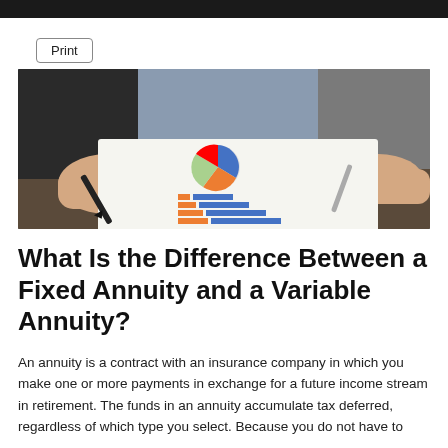[Figure (photo): Business meeting scene showing hands pointing at financial charts and graphs on paper, including a pie chart and a horizontal bar chart in blue and orange. Pens and a tablet visible on the desk.]
What Is the Difference Between a Fixed Annuity and a Variable Annuity?
An annuity is a contract with an insurance company in which you make one or more payments in exchange for a future income stream in retirement. The funds in an annuity accumulate tax deferred, regardless of which type you select. Because you do not have to